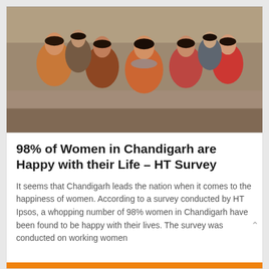[Figure (photo): Group of young women in colorful clothing taking a selfie together outdoors]
98% of Women in Chandigarh are Happy with their Life – HT Survey
It seems that Chandigarh leads the nation when it comes to the happiness of women. According to a survey conducted by HT Ipsos, a whopping number of 98% women in Chandigarh have been found to be happy with their lives. The survey was conducted on working women